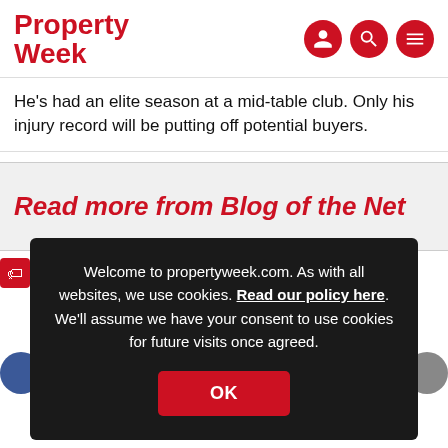Property Week
He's had an elite season at a mid-table club. Only his injury record will be putting off potential buyers.
Read more from Blog of the Net
Welcome to propertyweek.com. As with all websites, we use cookies. Read our policy here. We'll assume we have your consent to use cookies for future visits once agreed.